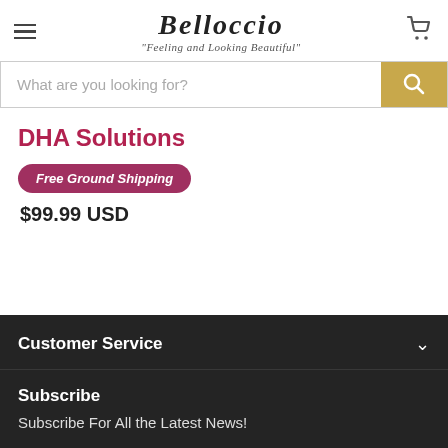Belloccio "Feeling and Looking Beautiful"
What are you looking for?
DHA Solutions
Free Ground Shipping
$99.99 USD
Customer Service
Subscribe
Subscribe For All the Latest News!